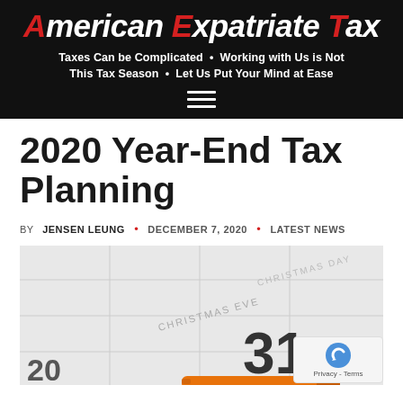American Expatriate Tax · Taxes Can be Complicated · Working with Us is Not This Tax Season · Let Us Put Your Mind at Ease
2020 Year-End Tax Planning
BY JENSEN LEUNG · DECEMBER 7, 2020 · LATEST NEWS
[Figure (photo): Close-up of a calendar showing December with Christmas Eve and Christmas Day labeled, the number 31 visible, and an orange marker pen at the bottom.]